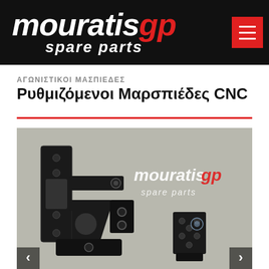[Figure (logo): MouratisgP spare parts logo on black background with red menu button]
ΑΓΩΝΙΣΤΙΚΟΙ ΜΑΣΠΙΕΔΕΣ
Ρυθμιζόμενοι Μαρσπιέδες CNC
[Figure (photo): Black CNC adjustable footpegs/rearsets motorcycle parts on grey background with mouratisgp spare parts watermark logo]